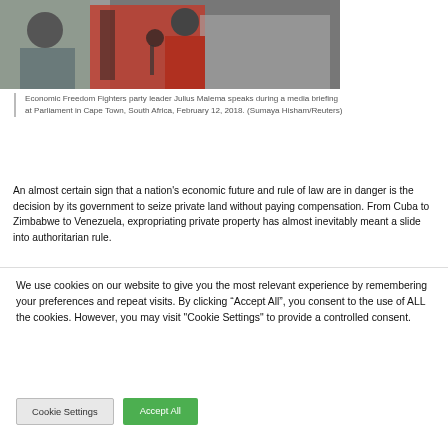[Figure (photo): Economic Freedom Fighters party leader Julius Malema speaks during a media briefing at Parliament in Cape Town, South Africa, February 12, 2018. Photo shows close-up of speakers at a microphone.]
Economic Freedom Fighters party leader Julius Malema speaks during a media briefing at Parliament in Cape Town, South Africa, February 12, 2018. (Sumaya Hisham/Reuters)
An almost certain sign that a nation's economic future and rule of law are in danger is the decision by its government to seize private land without paying compensation. From Cuba to Zimbabwe to Venezuela, expropriating private property has almost inevitably meant a slide into authoritarian rule.
We use cookies on our website to give you the most relevant experience by remembering your preferences and repeat visits. By clicking “Accept All”, you consent to the use of ALL the cookies. However, you may visit "Cookie Settings" to provide a controlled consent.